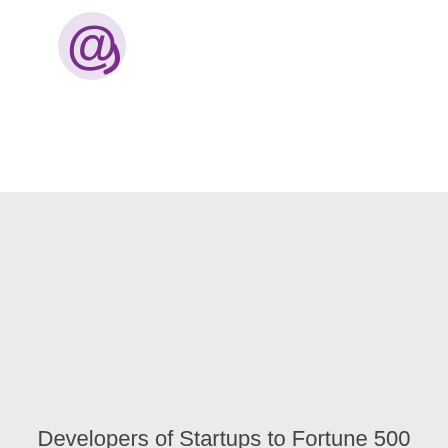[Figure (logo): LoginRadius purple @ symbol logo at top left]
Developers of Startups to Fortune 500 Trust LoginRadius
[Figure (logo): CBC red gem logo with text CBC below]
[Figure (logo): Viacom logo in blue italic bold text]
[Figure (logo): TravelPass Group logo with orange location pin icon and text travelpassgroup]
[Figure (logo): Partial logos visible at bottom of page]